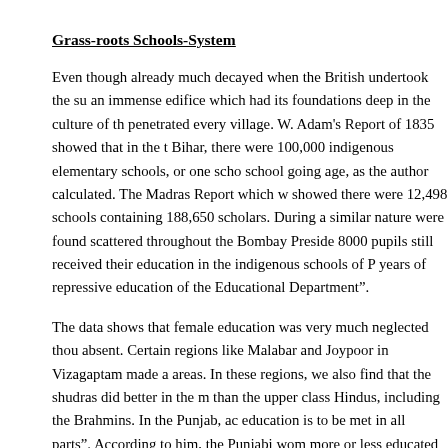Grass-roots Schools-System
Even though already much decayed when the British undertook the su an immense edifice which had its foundations deep in the culture of th penetrated every village. W. Adam's Report of 1835 showed that in the t Bihar, there were 100,000 indigenous elementary schools, or one scho school going age, as the author calculated. The Madras Report which w showed there were 12,498 schools containing 188,650 scholars. During a similar nature were found scattered throughout the Bombay Preside 8000 pupils still received their education in the indigenous schools of P years of repressive education of the Educational Department”.
The data shows that female education was very much neglected thou absent. Certain regions like Malabar and Joypoor in Vizagaptam made a areas. In these regions, we also find that the shudras did better in the m than the upper class Hindus, including the Brahmins. In the Punjab, ac education is to be met in all parts”. According to him, the Punjabi wom more or less educated herself, but she has been an educator of others annexation of the Punjab, six public schools for girls in Delhi were kept
The Reports also show that besides the system of public education, the